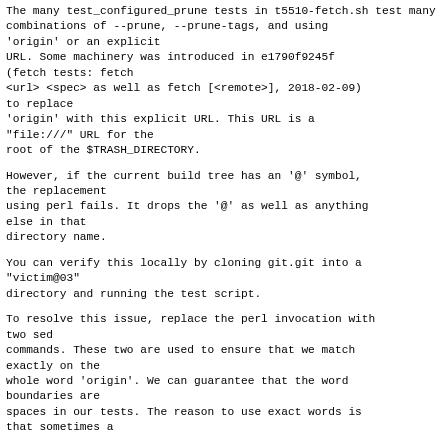The many test_configured_prune tests in t5510-fetch.sh test many combinations of --prune, --prune-tags, and using 'origin' or an explicit URL. Some machinery was introduced in e1790f9245f (fetch tests: fetch <url> <spec> as well as fetch [<remote>], 2018-02-09) to replace 'origin' with this explicit URL. This URL is a "file:///" URL for the root of the $TRASH_DIRECTORY.
However, if the current build tree has an '@' symbol, the replacement using perl fails. It drops the '@' as well as anything else in that directory name.
You can verify this locally by cloning git.git into a "victim@03" directory and running the test script.
To resolve this issue, replace the perl invocation with two sed commands. These two are used to ensure that we match exactly on the whole word 'origin'. We can guarantee that the word boundaries are spaces in our tests. The reason to use exact words is that sometimes a